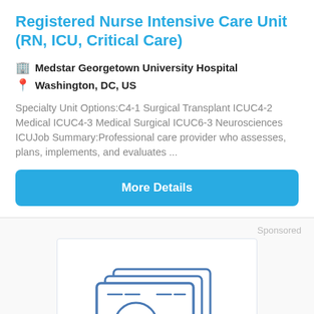Registered Nurse Intensive Care Unit (RN, ICU, Critical Care)
Medstar Georgetown University Hospital
Washington, DC, US
Specialty Unit Options:C4-1 Surgical Transplant ICUC4-2 Medical ICUC4-3 Medical Surgical ICUC6-3 Neurosciences ICUJob Summary:Professional care provider who assesses, plans, implements, and evaluates ...
More Details
Sponsored
[Figure (illustration): Line art illustration of stacked medical monitor/equipment cards with dials and display screens, rendered in blue outline style on white background within a bordered box.]